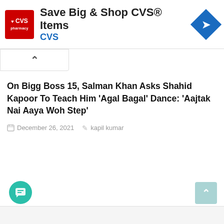[Figure (screenshot): CVS Pharmacy advertisement banner with red CVS logo, text 'Save Big & Shop CVS® Items' and blue navigation diamond icon]
On Bigg Boss 15, Salman Khan Asks Shahid Kapoor To Teach Him 'Agal Bagal' Dance: 'Aajtak Nai Aaya Woh Step'
December 26, 2021   kapil kumar